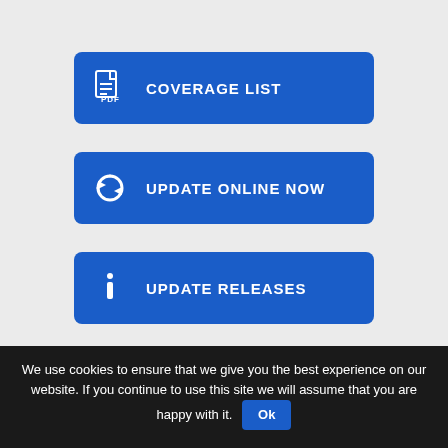[Figure (screenshot): Blue button with PDF icon and text COVERAGE LIST]
[Figure (screenshot): Blue button with refresh/sync icon and text UPDATE ONLINE NOW]
[Figure (screenshot): Blue button with info icon and text UPDATE RELEASES]
[Figure (screenshot): Partially visible blue button at bottom]
We use cookies to ensure that we give you the best experience on our website. If you continue to use this site we will assume that you are happy with it. Ok